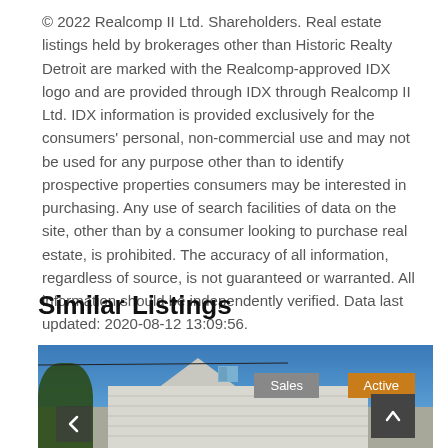© 2022 Realcomp II Ltd. Shareholders. Real estate listings held by brokerages other than Historic Realty Detroit are marked with the Realcomp-approved IDX logo and are provided through IDX through Realcomp II Ltd. IDX information is provided exclusively for the consumers' personal, non-commercial use and may not be used for any purpose other than to identify prospective properties consumers may be interested in purchasing. Any use of search facilities of data on the site, other than by a consumer looking to purchase real estate, is prohibited. The accuracy of all information, regardless of source, is not guaranteed or warranted. All information should be independently verified. Data last updated: 2020-08-12 13:09:56.
Similar Listings
[Figure (photo): Exterior photo of a house with white siding and a peaked roof dormer window, blue sky background, trees on left. Badges showing 'Sales' in gray and 'Active' in orange-brown overlay the upper right of the photo. A scroll-to-top button (dark square with upward chevron) appears in lower right. A left navigation arrow appears at lower left.]